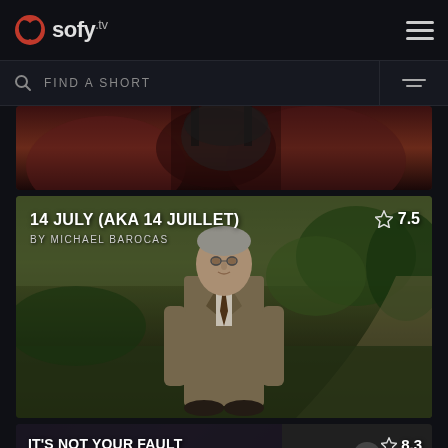sofy.tv
FIND A SHORT
[Figure (screenshot): Partial thumbnail of a video card showing upper body area with leather couch background]
[Figure (screenshot): Video card for '14 July (AKA 14 Juillet)' by Michael Barocas, rating 7.5, showing an elderly man in a suit standing in a garden]
[Figure (screenshot): Partial video card for 'It's Not Your Fault' by Norma Velásquez, rating 8.3, showing people and a green ball]